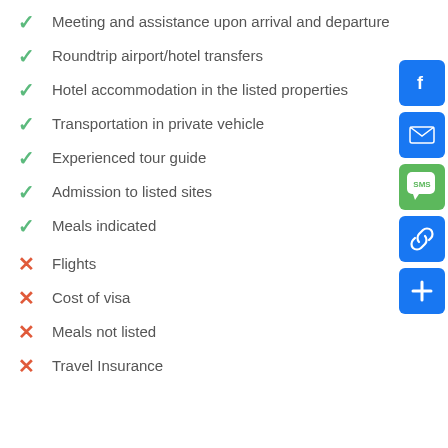Meeting and assistance upon arrival and departure
Roundtrip airport/hotel transfers
Hotel accommodation in the listed properties
Transportation in private vehicle
Experienced tour guide
Admission to listed sites
Meals indicated
Flights
Cost of visa
Meals not listed
Travel Insurance